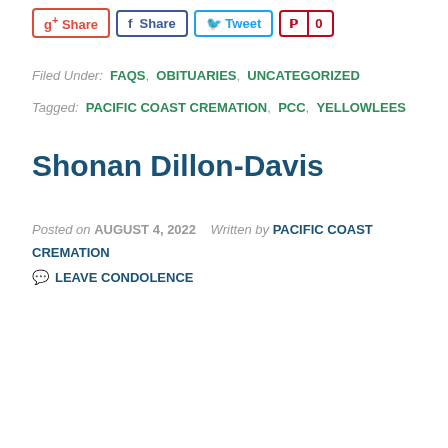g+ Share  f Share  Tweet  0
Filed Under: FAQS, OBITUARIES, UNCATEGORIZED
Tagged: PACIFIC COAST CREMATION, PCC, YELLOWLEES
Shonan Dillon-Davis
Posted on AUGUST 4, 2022  Written by PACIFIC COAST CREMATION  LEAVE CONDOLENCE
[Figure (photo): Black and white portrait photo of a bald man with glasses, smiling, with a blue border frame. Overlapping blue circular badge reading 'Coronavirus Update' with an X close button.]